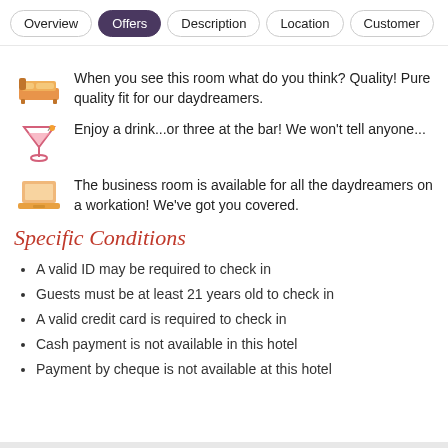Overview | Offers | Description | Location | Customer
When you see this room what do you think? Quality! Pure quality fit for our daydreamers.
Enjoy a drink...or three at the bar! We won't tell anyone...
The business room is available for all the daydreamers on a workation! We've got you covered.
Specific Conditions
A valid ID may be required to check in
Guests must be at least 21 years old to check in
A valid credit card is required to check in
Cash payment is not available in this hotel
Payment by cheque is not available at this hotel